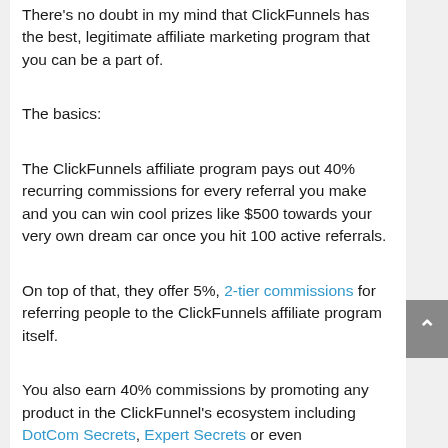There's no doubt in my mind that ClickFunnels has the best, legitimate affiliate marketing program that you can be a part of.
The basics:
The ClickFunnels affiliate program pays out 40% recurring commissions for every referral you make and you can win cool prizes like $500 towards your very own dream car once you hit 100 active referrals.
On top of that, they offer 5%, 2-tier commissions for referring people to the ClickFunnels affiliate program itself.
You also earn 40% commissions by promoting any product in the ClickFunnel's ecosystem including DotCom Secrets, Expert Secrets or even